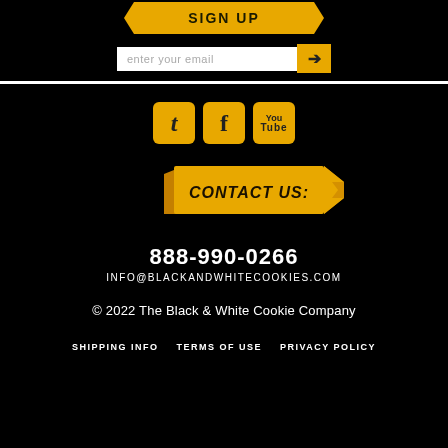[Figure (illustration): Email signup input bar with 'enter your email' placeholder text and a golden arrow button on a black background]
[Figure (illustration): Three social media icons: Twitter (t), Facebook (f), and YouTube (You/Tube) on golden rounded square backgrounds]
[Figure (illustration): Golden ribbon banner with text 'CONTACT US:' in bold black letters]
888-990-0266
INFO@BLACKANDWHITECOOKIES.COM
© 2022 The Black & White Cookie Company
SHIPPING INFO   TERMS OF USE   PRIVACY POLICY